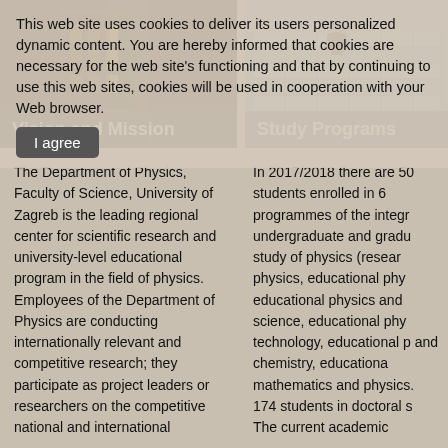This web site uses cookies to deliver its users personalized dynamic content. You are hereby informed that cookies are necessary for the web site's functioning and that by continuing to use this web sites, cookies will be used in cooperation with your Web browser.
I agree
[Figure (photo): Nighttime photo of a building interior or exterior with lights, labeled 'Vision and Mission']
[Figure (photo): Photo of metallic solar panels or similar structure, labeled 'Study Programs']
The Department of Physics, Faculty of Science, University of Zagreb is the leading regional center for scientific research and university-level educational program in the field of physics. Employees of the Department of Physics are conducting internationally relevant and competitive research; they participate as project leaders or researchers on the competitive national and international
In 2017/2018 there are 50 students enrolled in 6 programmes of the integrated undergraduate and graduate study of physics (research physics, educational physics, educational physics and computer science, educational physics and technology, educational physics and chemistry, educational mathematics and physics). 174 students in doctoral s The current academic